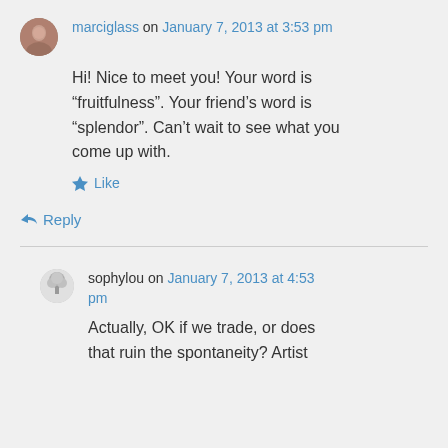marciglass on January 7, 2013 at 3:53 pm
Hi! Nice to meet you! Your word is “fruitfulness”. Your friend’s word is “splendor”. Can’t wait to see what you come up with.
Like
Reply
sophylou on January 7, 2013 at 4:53 pm
Actually, OK if we trade, or does that ruin the spontaneity? Artist